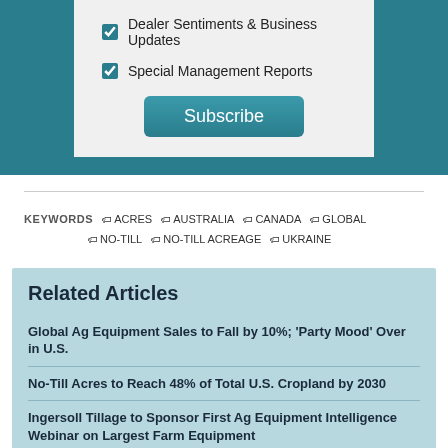☑ Dealer Sentiments & Business Updates
☑ Special Management Reports
Subscribe
KEYWORDS  🏷 ACRES  🏷 AUSTRALIA  🏷 CANADA  🏷 GLOBAL  🏷 NO-TILL  🏷 NO-TILL ACREAGE  🏷 UKRAINE
Related Articles
Global Ag Equipment Sales to Fall by 10%; 'Party Mood' Over in U.S.
No-Till Acres to Reach 48% of Total U.S. Cropland by 2030
Ingersoll Tillage to Sponsor First Ag Equipment Intelligence Webinar on Largest Farm Equipment Production in North America